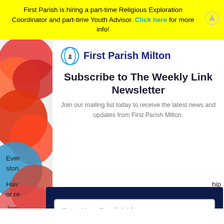First Parish is hiring a part-time Religious Exploration Coordinator and part-time Youth Advisor. Click here for more info!
[Figure (photo): Colorful crumpled paper pieces in red, orange, and blue, arranged vertically on the left side of the page.]
First Parish Milton
Subscribe to The Weekly Link Newsletter
Join our mailing list today to receive the latest news and updates from First Parish Milton.
Ever...
Have... hip or re...
Join... ear.
All a... prov...